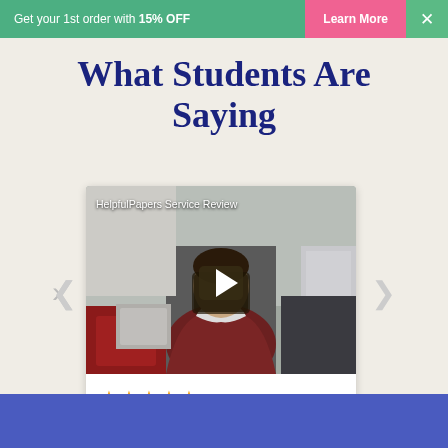Get your 1st order with 15% OFF   Learn More   ×
What Students Are Saying
[Figure (screenshot): Video thumbnail showing a student reviewer with title 'HelpfulPapers Service Review', with a play button overlay]
★★★★★   Bruce O.